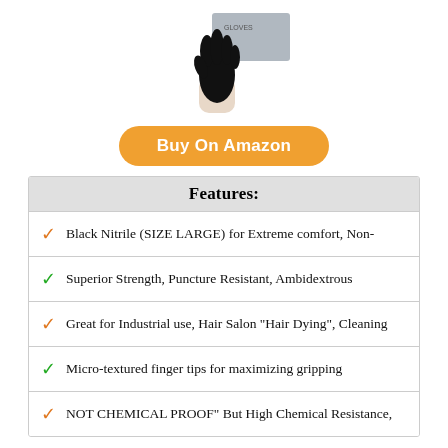[Figure (photo): Black nitrile glove held up with a product box in the background, top portion of page]
Buy On Amazon
| Features: |
| --- |
| ✓ Black Nitrile (SIZE LARGE) for Extreme comfort, Non- |
| ✓ Superior Strength, Puncture Resistant, Ambidextrous |
| ✓ Great for Industrial use, Hair Salon "Hair Dying", Cleaning |
| ✓ Micro-textured finger tips for maximizing gripping |
| ✓ NOT CHEMICAL PROOF" But High Chemical Resistance, |
10. HEAVY DUTY NITRILE GLOVES
[Figure (photo): Black nitrile glove with two fingers up (peace sign) next to a colorful product box, bottom portion of page]